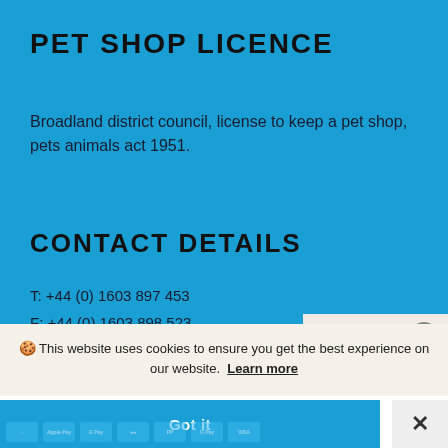PET SHOP LICENCE
Broadland district council, license to keep a pet shop, pets animals act 1951.
CONTACT DETAILS
T: +44 (0) 1603 897 453
F: +44 (0) 1603 898 523
E: info@selectivekoisales.co.uk
Back to the top
🍪 This website uses cookies to ensure you get the best experience on our website. Learn more
Got it